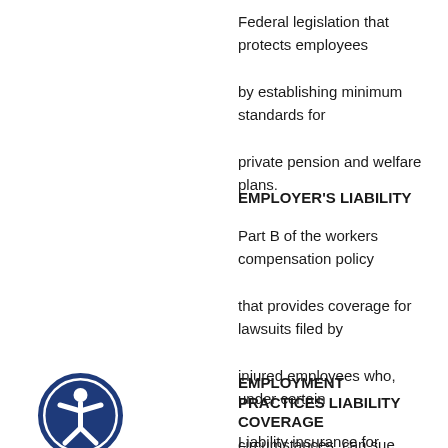Federal legislation that protects employees by establishing minimum standards for private pension and welfare plans.
EMPLOYER'S LIABILITY
Part B of the workers compensation policy that provides coverage for lawsuits filed by injured employees who, under certain circumstances, can sue under common law.
EMPLOYMENT PRACTICES LIABILITY COVERAGE
[Figure (illustration): Accessibility icon: a circular blue border with a white stick figure person with arms outstretched]
Liability insurance for employers that covers